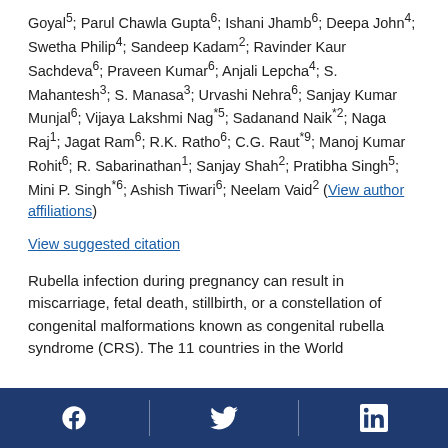Goyal⁵; Parul Chawla Gupta⁶; Ishani Jhamb⁶; Deepa John⁴; Swetha Philip⁴; Sandeep Kadam²; Ravinder Kaur Sachdeva⁶; Praveen Kumar⁶; Anjali Lepcha⁴; S. Mahantesh³; S. Manasa³; Urvashi Nehra⁶; Sanjay Kumar Munjal⁶; Vijaya Lakshmi Nag*⁵; Sadanand Naik*²; Naga Raj¹; Jagat Ram⁶; R.K. Ratho⁶; C.G. Raut*⁹; Manoj Kumar Rohit⁶; R. Sabarinathan¹; Sanjay Shah²; Pratibha Singh⁵; Mini P. Singh*⁶; Ashish Tiwari⁶; Neelam Vaid² (View author affiliations)
View suggested citation
Rubella infection during pregnancy can result in miscarriage, fetal death, stillbirth, or a constellation of congenital malformations known as congenital rubella syndrome (CRS). The 11 countries in the World
[Facebook] [Twitter] [LinkedIn]